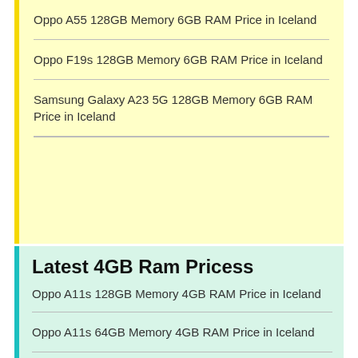Oppo A55 128GB Memory 6GB RAM Price in Iceland
Oppo F19s 128GB Memory 6GB RAM Price in Iceland
Samsung Galaxy A23 5G 128GB Memory 6GB RAM Price in Iceland
Latest 4GB Ram Pricess
Oppo A11s 128GB Memory 4GB RAM Price in Iceland
Oppo A11s 64GB Memory 4GB RAM Price in Iceland
Oppo A16K 64GB Memory 4GB RAM Price in Iceland